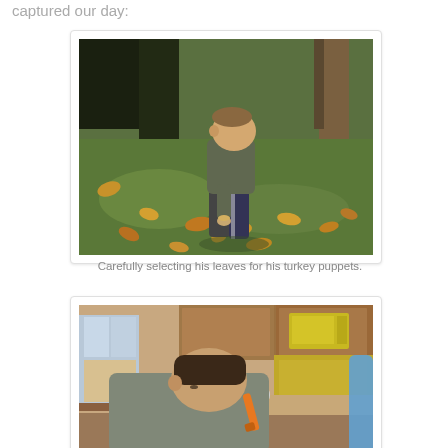captured our day:
[Figure (photo): A young boy crouching on a grass lawn covered with fallen autumn leaves, carefully picking up a leaf. Trees are visible in the background.]
Carefully selecting his leaves for his turkey puppets.
[Figure (photo): A young boy leaning over a table with an orange marker, drawing or writing. Kitchen with wood cabinets, microwave and stove visible in the background.]